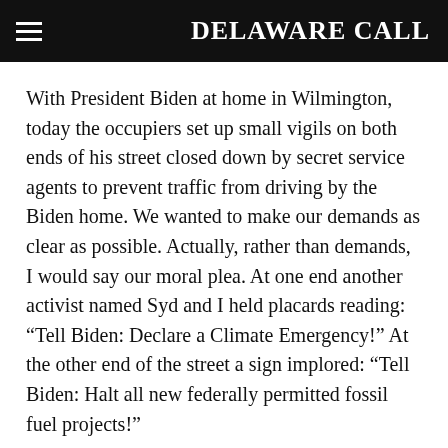DELAWARE CALL
With President Biden at home in Wilmington, today the occupiers set up small vigils on both ends of his street closed down by secret service agents to prevent traffic from driving by the Biden home. We wanted to make our demands as clear as possible. Actually, rather than demands, I would say our moral plea. At one end another activist named Syd and I held placards reading: “Tell Biden: Declare a Climate Emergency!” At the other end of the street a sign implored: “Tell Biden: Halt all new federally permitted fossil fuel projects!”
As I drove to this event from my home in Norfolk,